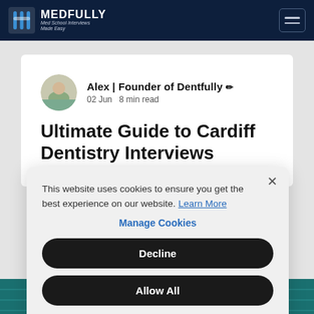MEDFULLY — Med School Interviews Made Easy
Alex | Founder of Dentfully
02 Jun  8 min read
Ultimate Guide to Cardiff Dentistry Interviews (2023) ...
This website uses cookies to ensure you get the best experience on our website. Learn More
Manage Cookies
Decline
Allow All